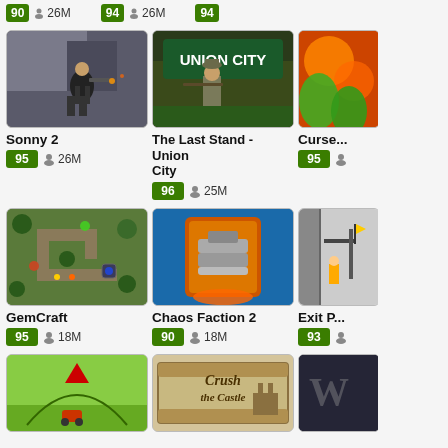[Figure (screenshot): Top partial row showing score badges: 90/26M, 94/26M, 94/...]
[Figure (screenshot): Sonny 2 game thumbnail - action game screenshot]
Sonny 2
95  26M
[Figure (screenshot): The Last Stand - Union City game thumbnail - shooter game screenshot with Union City sign]
The Last Stand - Union City
96  25M
[Figure (screenshot): Curse... game thumbnail partially visible - colorful game]
Curse...
95
[Figure (screenshot): GemCraft game thumbnail - tower defense map]
GemCraft
95  18M
[Figure (screenshot): Chaos Faction 2 game thumbnail - fighting game logo on blue background]
Chaos Faction 2
90  18M
[Figure (screenshot): Exit P... game thumbnail partially visible]
Exit P...
93
[Figure (screenshot): Bottom left game thumbnail - green game with red triangle]
[Figure (screenshot): Crush the Castle game thumbnail]
[Figure (screenshot): Bottom right game thumbnail partially visible - W...]